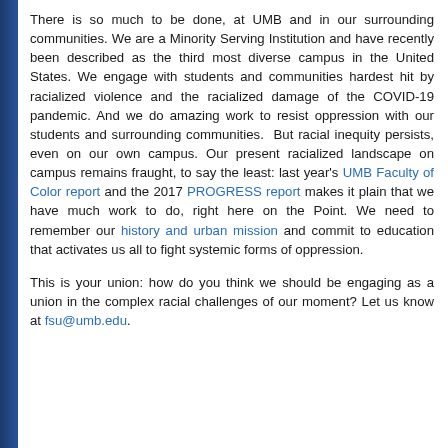There is so much to be done, at UMB and in our surrounding communities. We are a Minority Serving Institution and have recently been described as the third most diverse campus in the United States. We engage with students and communities hardest hit by racialized violence and the racialized damage of the COVID-19 pandemic. And we do amazing work to resist oppression with our students and surrounding communities.  But racial inequity persists, even on our own campus. Our present racialized landscape on campus remains fraught, to say the least: last year's UMB Faculty of Color report and the 2017 PROGRESS report makes it plain that we have much work to do, right here on the Point. We need to remember our history and urban mission and commit to education that activates us all to fight systemic forms of oppression.
This is your union: how do you think we should be engaging as a union in the complex racial challenges of our moment? Let us know at fsu@umb.edu.